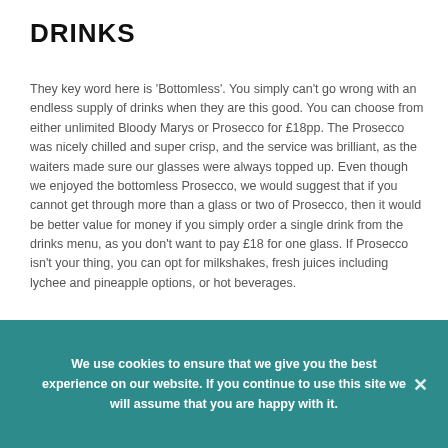DRINKS
They key word here is 'Bottomless'. You simply can't go wrong with an endless supply of drinks when they are this good. You can choose from either unlimited Bloody Marys or Prosecco for £18pp. The Prosecco was nicely chilled and super crisp, and the service was brilliant, as the waiters made sure our glasses were always topped up. Even though we enjoyed the bottomless Prosecco, we would suggest that if you cannot get through more than a glass or two of Prosecco, then it would be better value for money if you simply order a single drink from the drinks menu, as you don't want to pay £18 for one glass. If Prosecco isn't your thing, you can opt for milkshakes, fresh juices including lychee and pineapple options, or hot beverages.
[Figure (photo): Partial view of a drinks or restaurant scene, cropped photo strip]
We use cookies to ensure that we give you the best experience on our website. If you continue to use this site we will assume that you are happy with it.